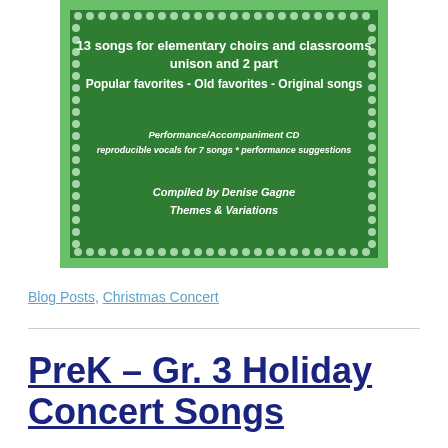[Figure (illustration): Book cover with dark green background and decorative green-and-white dotted border. White bold text reads: '13 songs for elementary choirs and classrooms unison and 2 part Popular favorites - Old favorites - Original songs'. Below in smaller italic/bold text: 'Performance/Accompaniment CD reproducible vocals for 7 songs * performance suggestions'. Further below: 'Compiled by Denise Gagne Themes & Variations'.]
Blog Posts, Christmas Concert
PreK – Gr. 3 Holiday Concert Songs